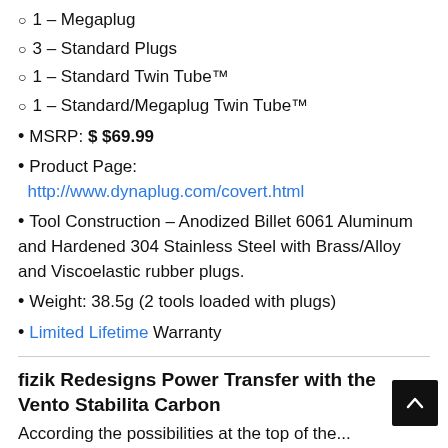1 – Megaplug
3 – Standard Plugs
1 – Standard Twin Tube™
1 – Standard/Megaplug Twin Tube™
MSRP: $ $69.99
Product Page: http://www.dynaplug.com/covert.html
Tool Construction – Anodized Billet 6061 Aluminum and Hardened 304 Stainless Steel with Brass/Alloy and Viscoelastic rubber plugs.
Weight: 38.5g (2 tools loaded with plugs)
Limited Lifetime Warranty
fizik Redesigns Power Transfer with the Vento Stabilita Carbon
According the possibilities at the st...